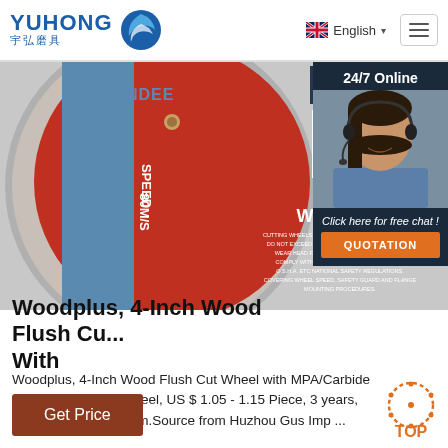YUHONG 宇弘磨具 | English | Menu
[Figure (photo): A red and blue circular cutting/grinding wheel (KEENDEE brand) with WARNING label, SPEED 80M/S, barcode, and text about STAIL-STEEL-ACIER-ACERO STAINLESS STEEL. Partially cropped product shot on grey background.]
[Figure (photo): 24/7 Online chat widget showing a female customer service representative wearing a headset, with 'Click here for free chat!' text and orange QUOTATION button.]
Woodplus, 4-Inch Wood Flush Cu... With
Woodplus, 4-Inch Wood Flush Cut Wheel with MPA/Carbide multi wood cutting wheel, US $ 1.05 - 1.15 Piece, 3 years, 1.6-2.8mm, 1.6-2.8mm.Source from Huzhou Gus Imp ...
Get Price